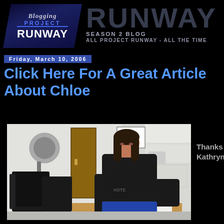[Figure (logo): Blogging Project Runway logo with blue diamond shape and large grey RUNWAY text with 'SEASON 2 BLOG ALL PROJECT RUNWAY - ALL THE TIME' subtitle]
Friday, March 10, 2006
Click Here For A Great Article About Chloe
[Figure (photo): Woman sitting at a table in a salon, wearing a black sweater, working with tape on papers. Salon chairs and hair dryer visible in background. Lot B Salon sign on wall.]
Thanks Kathryn!